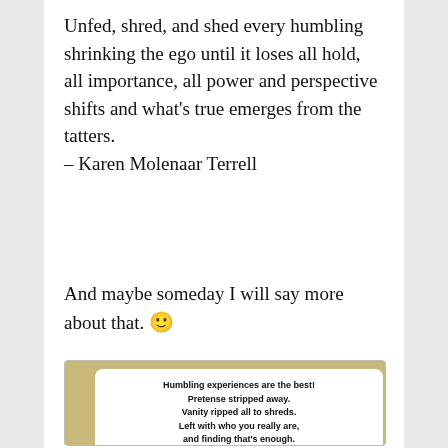Unfed, shred, and shed every humbling shrinking the ego until it loses all hold, all importance, all power and perspective shifts and what's true emerges from the tatters.
– Karen Molenaar Terrell
And maybe someday I will say more about that. 🙂
[Figure (illustration): An image with a nature/stone background showing a white rounded card with bold text reading: 'Humbling experiences are the best! Pretense stripped away. Vanity ripped all to shreds. Left with who you really are, and finding that's enough.']